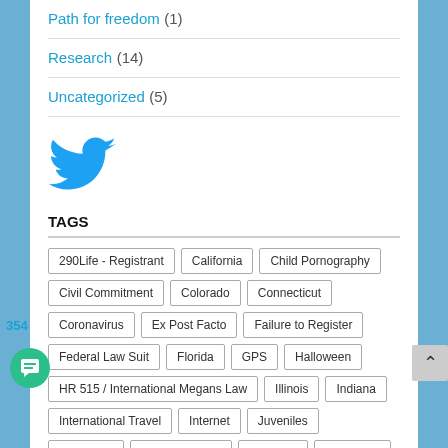Path for freedom (1)
Research (14)
Uncategorized (5)
[Figure (logo): Twitter bird logo in blue]
TAGS
290Life - Registrant
California
Child Pornography
Civil Commitment
Colorado
Connecticut
Coronavirus
Ex Post Facto
Failure to Register
Federal Law Suit
Florida
GPS
Halloween
HR 515 / International Megans Law
Illinois
Indiana
International Travel
Internet
Juveniles
Kat's Blog
Massachusetts
Michigan
Minnesota
Missouri